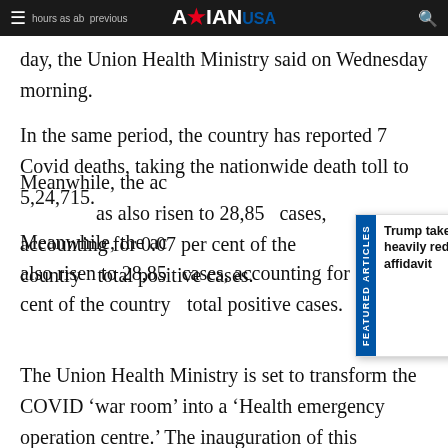ASIAN USA
day, the Union Health Ministry said on Wednesday morning.
In the same period, the country has reported 7 Covid deaths, taking the nationwide death toll to 5,24,715.
Meanwhile, the active caseload of the country has also risen to 28,85 cases, accounting for 0.07 per cent of the country total positive cases.
[Figure (screenshot): Featured articles popup overlay with blue vertical tab labeled 'FEATURED ARTICLES' and headline 'Trump takes victory lap over heavily redacted Mar-a-Lago affidavit' with close button]
The Union Health Ministry is set to transform the COVID ‘war room’ into a ‘Health emergency operation centre.’ The inauguration of this refurbished centre will be done soon, sources told